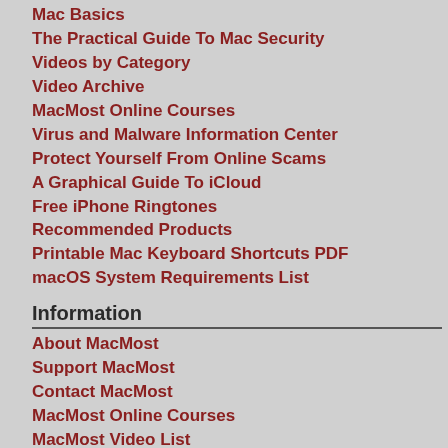Mac Basics
The Practical Guide To Mac Security
Videos by Category
Video Archive
MacMost Online Courses
Virus and Malware Information Center
Protect Yourself From Online Scams
A Graphical Guide To iCloud
Free iPhone Ringtones
Recommended Products
Printable Mac Keyboard Shortcuts PDF
macOS System Requirements List
Information
About MacMost
Support MacMost
Contact MacMost
MacMost Online Courses
MacMost Video List
MacMost Site Map
MacMost Site Policies